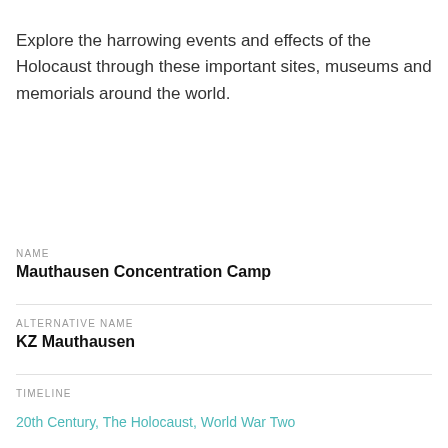Explore the harrowing events and effects of the Holocaust through these important sites, museums and memorials around the world.
NAME
Mauthausen Concentration Camp
ALTERNATIVE NAME
KZ Mauthausen
TIMELINE
20th Century, The Holocaust, World War Two